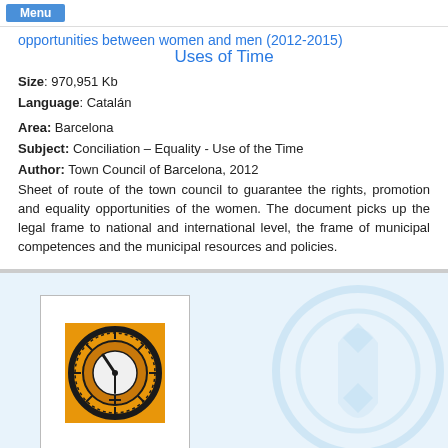Menu
opportunities between women and men (2012-2015) Uses of Time
Size: 970,951 Kb
Language: Catalán
Area: Barcelona
Subject: Conciliation – Equality - Use of the Time
Author: Town Council of Barcelona, 2012
Sheet of route of the town council to guarantee the rights, promotion and equality opportunities of the women. The document picks up the legal frame to national and international level, the frame of municipal competences and the municipal resources and policies.
[Figure (illustration): Book cover thumbnail showing an orange square with a stylized clock/gear design in black and white, inside a white card with border. To the right is a large faded circular watermark logo on light blue background.]